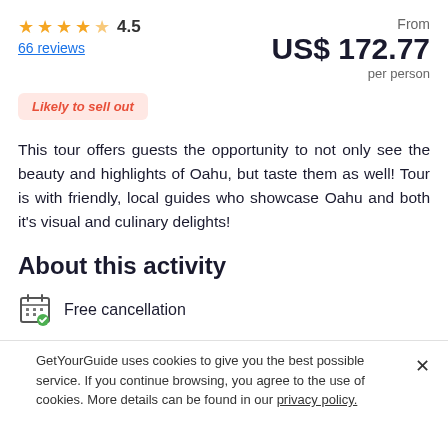★★★★½ 4.5 | 66 reviews | From US$ 172.77 per person
Likely to sell out
This tour offers guests the opportunity to not only see the beauty and highlights of Oahu, but taste them as well! Tour is with friendly, local guides who showcase Oahu and both it's visual and culinary delights!
About this activity
Free cancellation
GetYourGuide uses cookies to give you the best possible service. If you continue browsing, you agree to the use of cookies. More details can be found in our privacy policy.